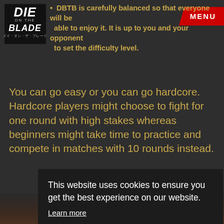[Figure (logo): Die on the Blade game logo in top-left corner with stylized text and Japanese subtitle]
DBTB is carefully balanced so that everyone will be able to enjoy it. It is up to you and your opponent to set the difficulty level.
You can go easy or you can go hardcore. Hardcore players might choose to fight for one round with high stakes whereas beginners might take time to practice and compete in matches with 10 rounds instead.
This website uses cookies to ensure you get the best experience on our website. Learn more
Got it